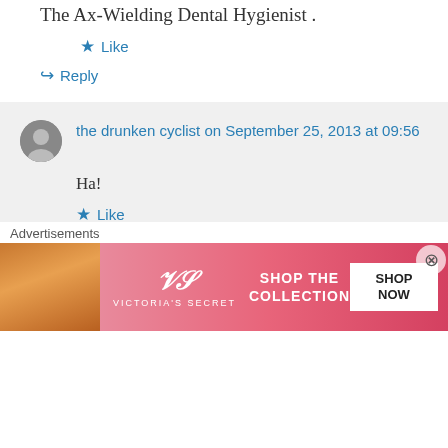The Ax-Wielding Dental Hygienist .
★ Like
↪ Reply
the drunken cyclist on September 25, 2013 at 09:56
Ha!
★ Like
↪ Reply
Chef Francois de Meloque on October 4, 2013 at
Advertisements
[Figure (photo): Victoria's Secret advertisement banner with model photo, VS logo, 'SHOP THE COLLECTION' text, and 'SHOP NOW' button]